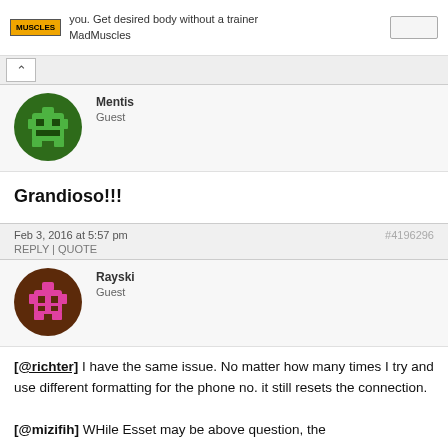[Figure (infographic): Ad bar with MadMuscles logo, text 'you. Get desired body without a trainer MadMuscles', and a button]
Mentis
Guest
[Figure (photo): Green pixel art avatar icon on dark green circle background]
Grandioso!!!
Feb 3, 2016 at 5:57 pm
#4196296
REPLY | QUOTE
Rayski
Guest
[Figure (photo): Pink pixel art avatar icon on brown circle background]
[@richter] I have the same issue. No matter how many times I try and use different formatting for the phone no. it still resets the connection.

[@mizifih] WHile Esset may be above question, the